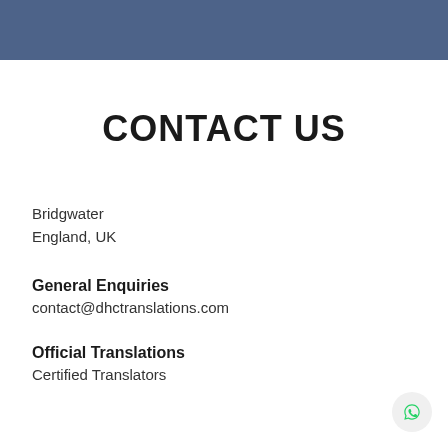CONTACT US
Bridgwater
England, UK
General Enquiries
contact@dhctranslations.com
Official Translations
Certified Translators